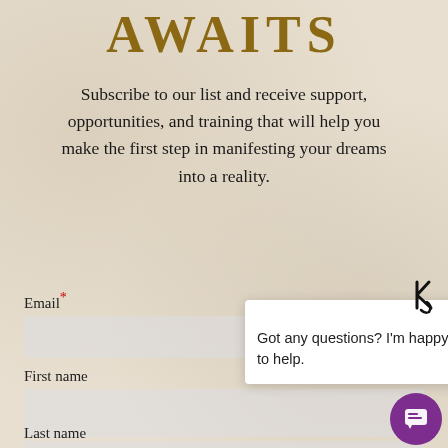AWAITS
Subscribe to our list and receive support, opportunities, and training that will help you make the first step in manifesting your dreams into a reality.
Email*
First name
[Figure (screenshot): Chat widget popup with KC logo, close button, and message: Got any questions? I'm happy to help. Purple chat button in bottom right.]
Last name